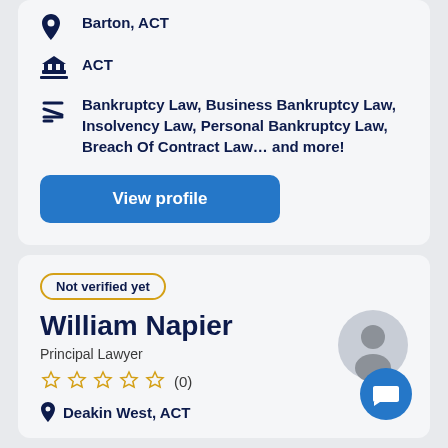Barton, ACT
ACT
Bankruptcy Law, Business Bankruptcy Law, Insolvency Law, Personal Bankruptcy Law, Breach Of Contract Law… and more!
View profile
Not verified yet
William Napier
Principal Lawyer
(0)
Deakin West, ACT